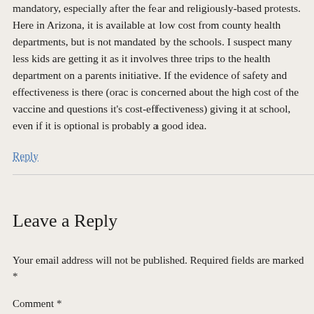mandatory, especially after the fear and religiously-based protests. Here in Arizona, it is available at low cost from county health departments, but is not mandated by the schools. I suspect many less kids are getting it as it involves three trips to the health department on a parents initiative. If the evidence of safety and effectiveness is there (orac is concerned about the high cost of the vaccine and questions it's cost-effectiveness) giving it at school, even if it is optional is probably a good idea.
Reply
Leave a Reply
Your email address will not be published. Required fields are marked *
Comment *